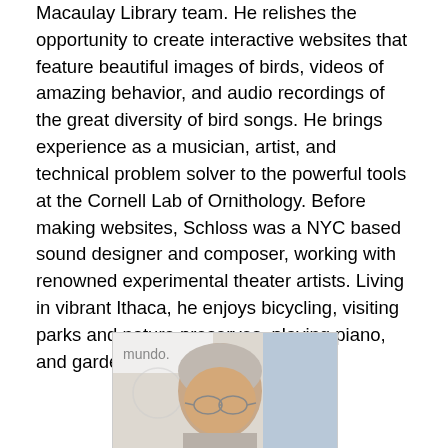Macaulay Library team.  He relishes the opportunity to create interactive websites that feature beautiful images of birds, videos of amazing behavior, and audio recordings of the great diversity of bird songs.  He brings experience as a musician, artist, and technical problem solver to the powerful tools at the Cornell Lab of Ornithology.  Before making websites, Schloss was a NYC based sound designer and composer, working with renowned experimental theater artists.  Living in vibrant Ithaca, he enjoys bicycling, visiting parks and nature preserves, playing piano, and gardening.
[Figure (photo): Headshot photo of a man with gray hair and glasses, smiling slightly, with a banner showing 'mundo.' in the background]